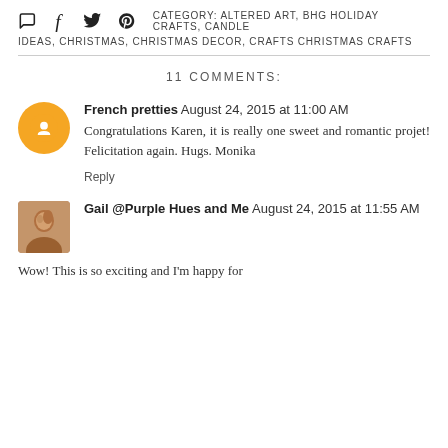CATEGORY: ALTERED ART, BHG HOLIDAY CRAFTS, CANDLE IDEAS, CHRISTMAS, CHRISTMAS DECOR, CRAFTS CHRISTMAS CRAFTS
11 COMMENTS:
French pretties August 24, 2015 at 11:00 AM
Congratulations Karen, it is really one sweet and romantic projet! Felicitation again. Hugs. Monika
Reply
Gail @Purple Hues and Me August 24, 2015 at 11:55 AM
Wow! This is so exciting and I'm happy for